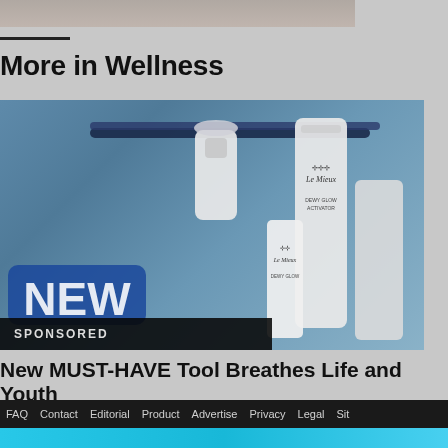[Figure (photo): Partial top image showing hands or products, cropped at top of page]
More in Wellness
[Figure (photo): Sponsored product photo showing Le Mieux skincare products and an airbrush tool on a blue background, with a NEW badge and SPONSORED label overlay]
New MUST-HAVE Tool Breathes Life and Youth
FAQ  Contact  Editorial  Product  Advertise  Privacy  Legal  Sit